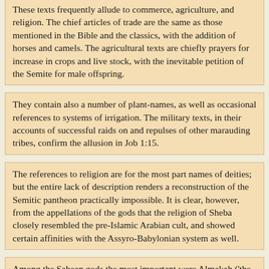These texts frequently allude to commerce, agriculture, and religion. The chief articles of trade are the same as those mentioned in the Bible and the classics, with the addition of horses and camels. The agricultural texts are chiefly prayers for increase in crops and live stock, with the inevitable petition of the Semite for male offspring.
They contain also a number of plant-names, as well as occasional references to systems of irrigation. The military texts, in their accounts of successful raids on and repulses of other marauding tribes, confirm the allusion in Job 1:15.
The references to religion are for the most part names of deities; but the entire lack of description renders a reconstruction of the Semitic pantheon practically impossible. It is clear, however, from the appellations of the gods that the religion of Sheba closely resembled the pre-Islamic Arabian cult, and showed certain affinities with the Assyro-Babylonian system as well.
Among the Sabean gods the most important were Almakah ('the hearing god?'), Athtar (a protective deity and the male for of 'Ashtaroth,' to whom the gazel